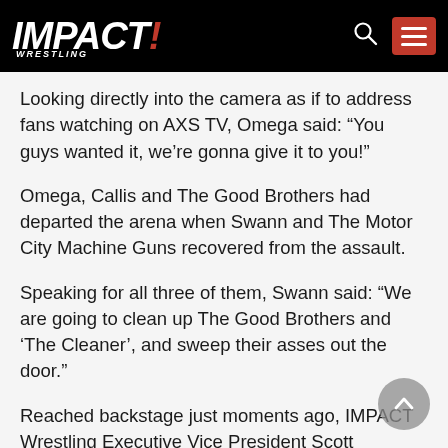IMPACT! WRESTLING
Looking directly into the camera as if to address fans watching on AXS TV, Omega said: “You guys wanted it, we’re gonna give it to you!”
Omega, Callis and The Good Brothers had departed the arena when Swann and The Motor City Machine Guns recovered from the assault.
Speaking for all three of them, Swann said: “We are going to clean up The Good Brothers and ‘The Cleaner’, and sweep their asses out the door.”
Reached backstage just moments ago, IMPACT Wrestling Executive Vice President Scott D’Amore had the following reaction: “We promised a can’t-miss episode of IMPACT Wrestling tonight – can anybody